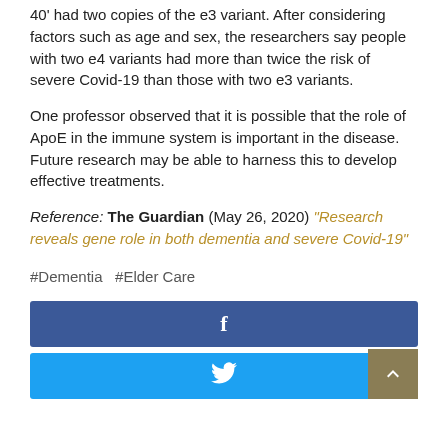40’ had two copies of the e3 variant. After considering factors such as age and sex, the researchers say people with two e4 variants had more than twice the risk of severe Covid-19 than those with two e3 variants.
One professor observed that it is possible that the role of ApoE in the immune system is important in the disease. Future research may be able to harness this to develop effective treatments.
Reference: The Guardian (May 26, 2020) “Research reveals gene role in both dementia and severe Covid-19”
#Dementia  #Elder Care
[Figure (other): Facebook share button (dark blue background with white 'f' icon)]
[Figure (other): Twitter share button (cyan/light blue background with white bird icon) and a dark tan/olive scroll-to-top button with upward chevron]